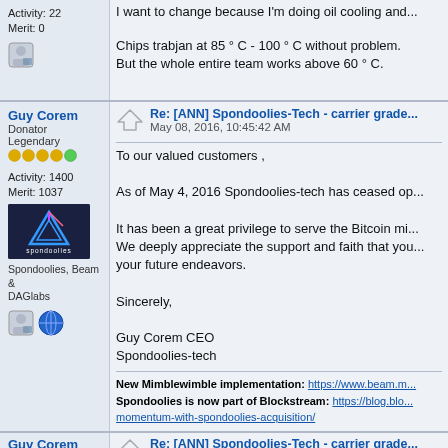Activity: 22
Merit: 0
I want to change because I'm doing oil cooling and...
Chips trabjan at 85 ° C - 100 ° C without problem.
But the whole entire team works above 60 ° C.
Guy Corem
Donator
Legendary
Activity: 1400
Merit: 1037
Spondoolies, Beam & DAGlabs
Re: [ANN] Spondoolies-Tech - carrier grade...
May 08, 2016, 10:45:42 AM
To our valued customers ,

As of May 4, 2016 Spondoolies-tech has ceased op...

It has been a great privilege to serve the Bitcoin mi...
We deeply appreciate the support and faith that you...
your future endeavors.

Sincerely,

Guy Corem CEO
Spondoolies-tech
New Mimblewimble implementation: https://www.beam.m...
Spondoolies is now part of Blockstream: https://blog.blo...
momentum-with-spondoolies-acquisition/
Guy Corem
Donator
Re: [ANN] Spondoolies-Tech - carrier grade...
May 08, 2016, 10:47:17 AM